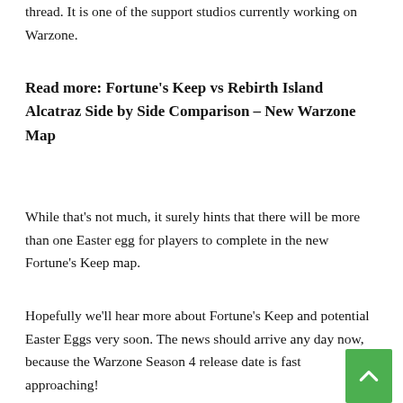thread. It is one of the support studios currently working on Warzone.
Read more: Fortune's Keep vs Rebirth Island Alcatraz Side by Side Comparison – New Warzone Map
While that's not much, it surely hints that there will be more than one Easter egg for players to complete in the new Fortune's Keep map.
Hopefully we'll hear more about Fortune's Keep and potential Easter Eggs very soon. The news should arrive any day now, because the Warzone Season 4 release date is fast approaching!
Until then, make sure you know the 5 best